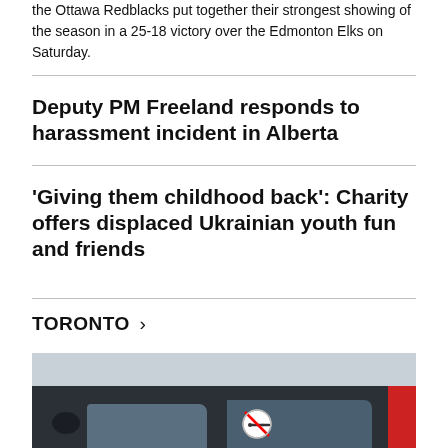the Ottawa Redblacks put together their strongest showing of the season in a 25-18 victory over the Edmonton Elks on Saturday.
Deputy PM Freeland responds to harassment incident in Alberta
'Giving them childhood back': Charity offers displaced Ukrainian youth fun and friends
TORONTO >
[Figure (photo): Photo of a dark-coloured car viewed from outside, showing the side windows. A no-smoking circular sticker is visible on the rear window. A red stripe or object is partially visible on the right edge.]